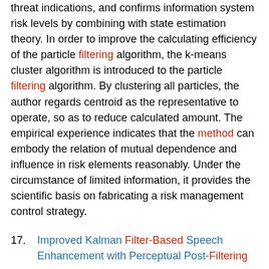threat indications, and confirms information system risk levels by combining with state estimation theory. In order to improve the calculating efficiency of the particle filtering algorithm, the k-means cluster algorithm is introduced to the particle filtering algorithm. By clustering all particles, the author regards centroid as the representative to operate, so as to reduce calculated amount. The empirical experience indicates that the method can embody the relation of mutual dependence and influence in risk elements reasonably. Under the circumstance of limited information, it provides the scientific basis on fabricating a risk management control strategy.
17. Improved Kalman Filter-Based Speech Enhancement with Perceptual Post-Filtering
Institute of Scientific and Technical Information of China (English)
WEIJianqiang; DULimin; YANZhaoli; ZENGHui
2004-01-01
In this paper, a Kalman filter-based speech enhancement algorithm with perceptual assessment of voice and...